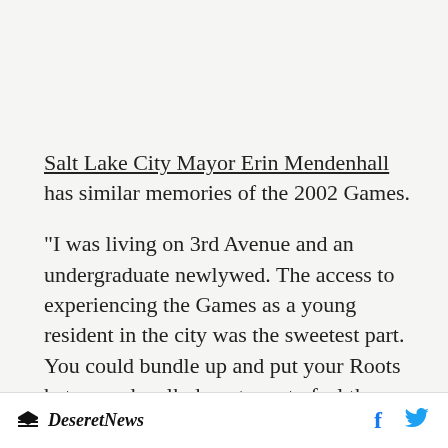Salt Lake City Mayor Erin Mendenhall has similar memories of the 2002 Games.
“I was living on 3rd Avenue and an undergraduate newlywed. The access to experiencing the Games as a young resident in the city was the sweetest part. You could bundle up and put your Roots hat on and walk downtown to feel the world around
Deseret News